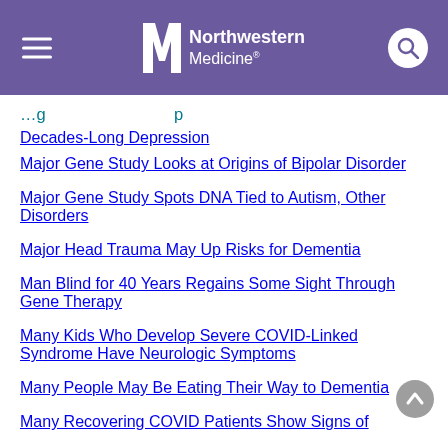Northwestern Medicine
Decades-Long Depression
Major Gene Study Looks at Origins of Bipolar Disorder
Major Gene Study Spots DNA Tied to Autism, Other Disorders
Major Head Trauma May Up Risks for Dementia
Man Blind for 40 Years Regains Some Sight Through Gene Therapy
Many Kids Who Develop Severe COVID-Linked Syndrome Have Neurologic Symptoms
Many People May Be Eating Their Way to Dementia
Many Recovering COVID Patients Show Signs of